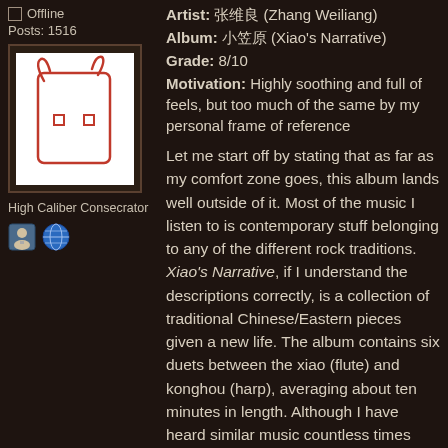Offline
Posts: 1516
[Figure (illustration): Hand-drawn avatar: a simple red sketch of a bull/ox head on white background with dark border]
High Caliber Consecrator
[Figure (illustration): Two small forum icon images: a person icon and a globe icon]
Artist: 张维良 (Zhang Weiliang)
Album: 小笠原 (Xiao's Narrative)
Grade: 8/10
Motivation: Highly soothing and full of feels, but too much of the same by my personal frame of reference
Let me start off by stating that as far as my comfort zone goes, this album lands well outside of it. Most of the music I listen to is contemporary stuff belonging to any of the different rock traditions. Xiao's Narrative, if I understand the descriptions correctly, is a collection of traditional Chinese/Eastern pieces given a new life. The album contains six duets between the xiao (flute) and konghou (harp), averaging about ten minutes in length. Although I have heard similar music countless times before, it's always been in a setting where it served to support something else – think of movies